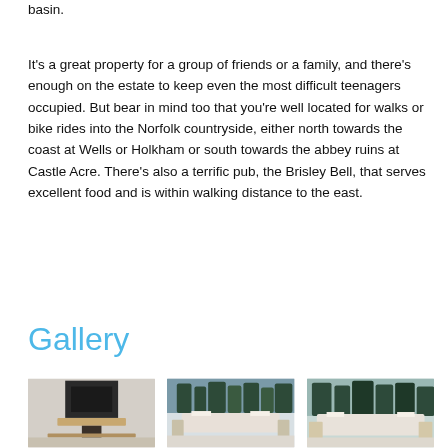basin.
It's a great property for a group of friends or a family, and there's enough on the estate to keep even the most difficult teenagers occupied. But bear in mind too that you're well located for walks or bike rides into the Norfolk countryside, either north towards the coast at Wells or Holkham or south towards the abbey ruins at Castle Acre. There's also a terrific pub, the Brisley Bell, that serves excellent food and is within walking distance to the east.
Gallery
[Figure (photo): Three gallery photos: a fireplace with wooden mantel, a bedroom with forest mural wallpaper, and another bedroom with forest mural wallpaper and lamps.]